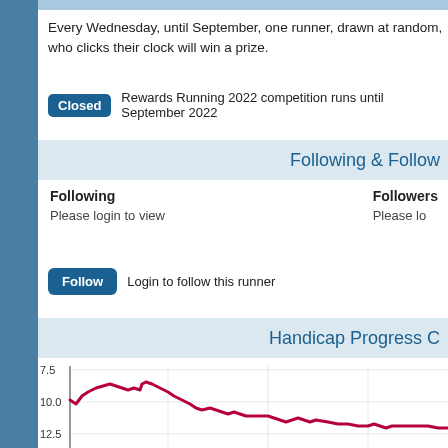Every Wednesday, until September, one runner, drawn at random, who clicks their clock will win a prize.
Closed  Rewards Running 2022 competition runs until September 2022
Following & Follow
Following
Please login to view
Followers
Please login to view
Follow  Login to follow this runner
Handicap Progress C
[Figure (continuous-plot): Handicap progress line chart showing a crimson/red line trending from around 7.5-10.0 down to about 12.5, with y-axis labels 7.5, 10.0, 12.5]